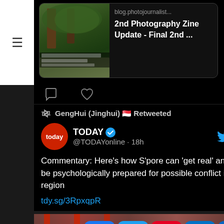[Figure (screenshot): Article preview card with thumbnail showing trees/foliage and text 'blog.photojournalist...' and '2nd Photography Zine Update - Final 2nd ...']
[Figure (screenshot): Comment and heart/like icons on dark background]
GengHui (Jinghui) 🇸🇬 Retweeted
[Figure (screenshot): TODAY logo (red circle) with TODAY @TODAYonline · 18h and Twitter bird icon]
Commentary: Here's how S'pore can 'get real' and be psychologically prepared for possible conflict in region tdy.sg/3RpxqpR
[Figure (screenshot): Military parade image with share button grid overlay: Facebook, Twitter, Pinterest, Email, LinkedIn, WhatsApp, Copy link, Telegram, Flipboard, WeChat, Gmail, More buttons]